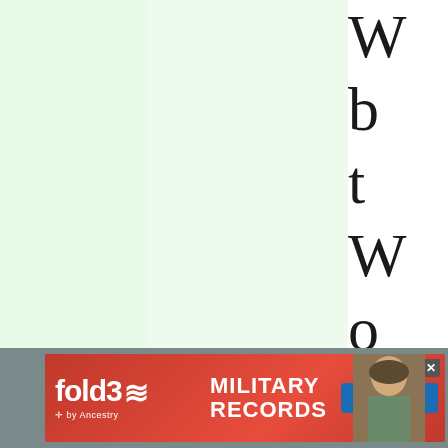[Figure (screenshot): Partial webpage view with three colored column panels (light green, slightly darker green, white) and large partially-visible serif text characters on the right edge]
[Figure (screenshot): Fold3 by Ancestry advertisement banner for Military Records with Search Now button and a photo of a soldier]